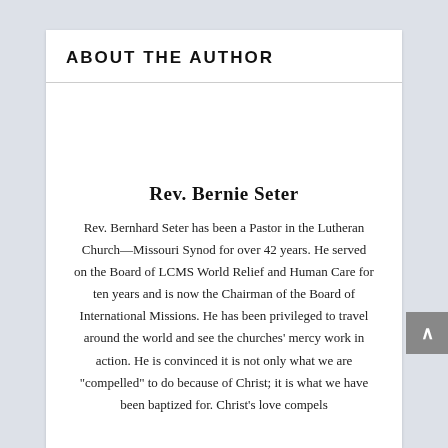ABOUT THE AUTHOR
Rev. Bernie Seter
Rev. Bernhard Seter has been a Pastor in the Lutheran Church—Missouri Synod for over 42 years. He served on the Board of LCMS World Relief and Human Care for ten years and is now the Chairman of the Board of International Missions. He has been privileged to travel around the world and see the churches' mercy work in action. He is convinced it is not only what we are "compelled" to do because of Christ; it is what we have been baptized for. Christ's love compels